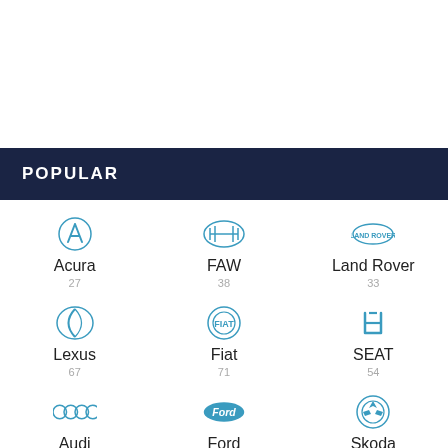POPULAR
[Figure (logo): Acura logo]
Acura
27
[Figure (logo): FAW logo]
FAW
38
[Figure (logo): Land Rover logo]
Land Rover
33
[Figure (logo): Lexus logo]
Lexus
67
[Figure (logo): Fiat logo]
Fiat
71
[Figure (logo): SEAT logo]
SEAT
54
[Figure (logo): Audi logo]
Audi
188
[Figure (logo): Ford logo]
Ford
143
[Figure (logo): Skoda logo]
Skoda
72
[Figure (logo): Bentley logo (partial)]
[Figure (logo): Lancia/other logo (partial)]
[Figure (logo): BMW logo (partial)]